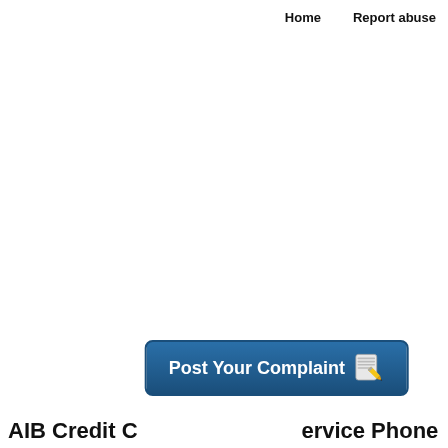Home    Report abuse
[Figure (other): Blue rounded-rectangle button labeled 'Post Your Complaint' with a notepad-and-pencil emoji icon]
AIB Credit ... ervice Phone